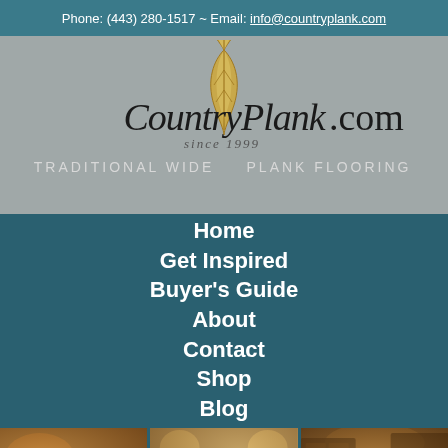Phone: (443) 280-1517 ~ Email: info@countryplank.com
[Figure (logo): CountryPlank.com logo with golden leaf, tagline 'since 1999' and 'TRADITIONAL WIDE PLANK FLOORING' on grey background]
Home
Get Inspired
Buyer's Guide
About
Contact
Shop
Blog
[Figure (photo): Three interior room photos showing wood flooring: living room with fireplace, bedroom with red accents, kitchen/dining area]